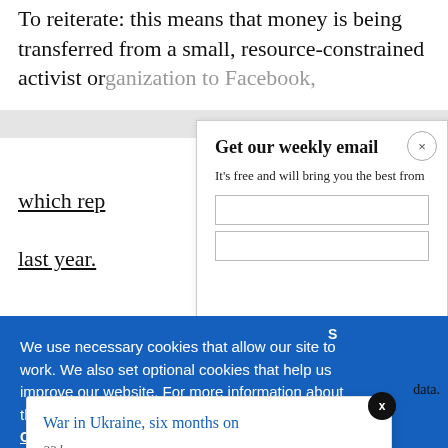To reiterate: this means that money is being transferred from a small, resource-constrained activist or... to Facebook which rep... last year.
Get our weekly email
It's free and will bring you the best from
We use necessary cookies that allow our site to work. We also set optional cookies that help us improve our website. For more information about the types of cookies we use. READ OUR COOKIES POLICY HERE
COOKIE
ALLOW
War in Ukraine, six months on
22 hours ago
data.
Facebook